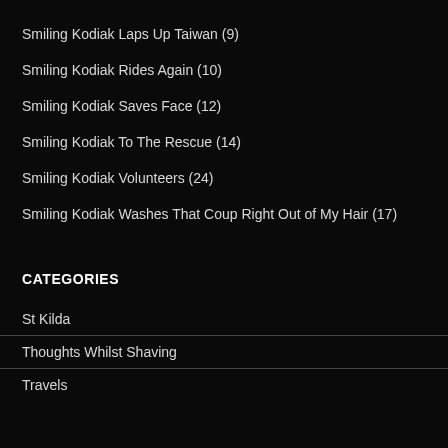Smiling Kodiak Laps Up Taiwan (9)
Smiling Kodiak Rides Again (10)
Smiling Kodiak Saves Face (12)
Smiling Kodiak To The Rescue (14)
Smiling Kodiak Volunteers (24)
Smiling Kodiak Washes That Coup Right Out of My Hair (17)
CATEGORIES
St Kilda
Thoughts Whilst Shaving
Travels